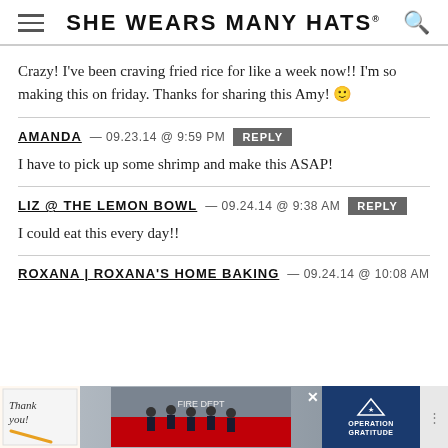SHE WEARS MANY HATS
Crazy! I've been craving fried rice for like a week now!! I'm so making this on friday. Thanks for sharing this Amy! 🙂
AMANDA — 09.23.14 @ 9:59 PM REPLY
I have to pick up some shrimp and make this ASAP!
LIZ @ THE LEMON BOWL — 09.24.14 @ 9:38 AM REPLY
I could eat this every day!!
ROXANA | ROXANA'S HOME BAKING — 09.24.14 @ 10:08 AM